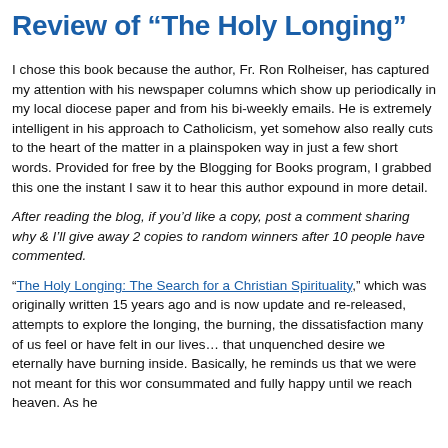Review of "The Holy Longing"
I chose this book because the author, Fr. Ron Rolheiser, has captured my attention with his newspaper columns which show up periodically in my local diocese paper and from his bi-weekly emails. He is extremely intelligent in his approach to Catholicism, yet somehow also really cuts to the heart of the matter in a plainspoken way in just a few short words. Provided for free by the Blogging for Books program, I grabbed this one the instant I saw it to hear this author expound in more detail.
After reading the blog, if you'd like a copy, post a comment sharing why & I'll give away 2 copies to random winners after 10 people have commented.
“The Holy Longing: The Search for a Christian Spirituality,” which was originally written 15 years ago and is now updated and re-released, attempts to explore the longing, the burning, the dissatisfaction many of us feel or have felt in our lives… that unquenched desire we eternally have burning inside. Basically, he reminds us that we were not meant for this world, consummated and fully happy until we reach heaven. As he